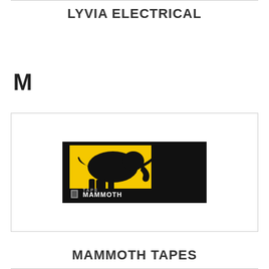LYVIA ELECTRICAL
M
[Figure (logo): Mammoth Tape logo: black rectangle background with yellow square containing black silhouette of a mammoth, white text reading MAMMOTH TAPE at the bottom]
MAMMOTH TAPES